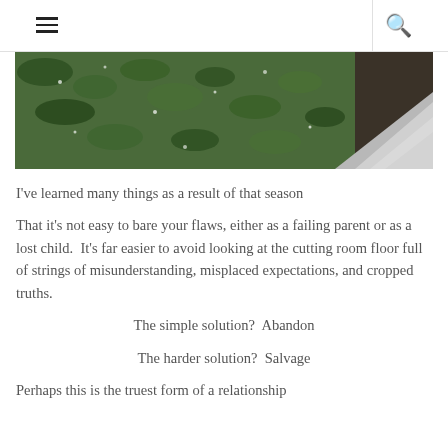☰  🔍
[Figure (photo): Overhead photo of roasted kale chips with white seasoning on a dark baking sheet, with a piece of aluminum foil in the corner.]
I've learned many things as a result of that season
That it's not easy to bare your flaws, either as a failing parent or as a lost child.  It's far easier to avoid looking at the cutting room floor full of strings of misunderstanding, misplaced expectations, and cropped truths.
The simple solution?  Abandon
The harder solution?  Salvage
Perhaps this is the truest form of a relationship